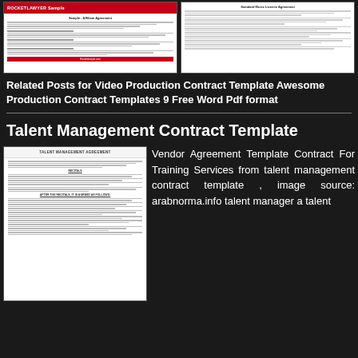[Figure (screenshot): Two document thumbnail images side by side showing contract templates. Left one has a red RocketLawyer header. Right one shows a standard document template.]
Related Posts for Video Production Contract Template Awesome Production Contract Templates 9 Free Word Pdf format
Talent Management Contract Template
[Figure (screenshot): Thumbnail of a Talent Management Agreement document showing contract text with sections including WHEREAS and TALENT MANAGEMENT AGREEMENT header.]
Vendor Agreement Template Contract For Training Services from talent management contract template , image source: arabnorma.info talent manager a talent